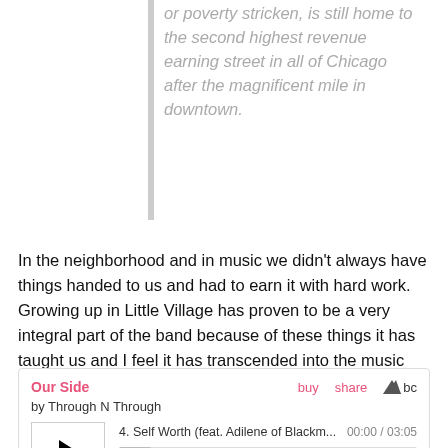or poverty stricken, is still home to the second highest revenue earning street in all of Chicago after the magnificent mile in downtown.
In the neighborhood and in music we didn't always have things handed to us and had to earn it with hard work. Growing up in Little Village has proven to be a very integral part of the band because of these things it has taught us and I feel it has transcended into the music and our DIY mentality as a band.
[Figure (other): Embedded Bandcamp music player widget showing 'Our Side' by Through N Through, with track 4: Self Worth (feat. Adilene of Blackm...), time 00:00 / 03:05, play button, progress bar, and skip controls.]